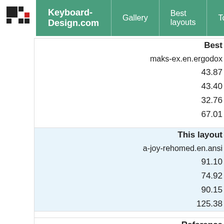Keyboard-Design.com | Gallery | Best layouts | Too
| Best |
| --- |
| maks-ex.en.ergodox |
| 43.87 |
| 43.40 |
| 32.76 |
| 67.01 |
| This layout |
| --- |
| a-joy-rehomed.en.ansi |
| 91.10 |
| 74.92 |
| 90.15 |
| 125.38 |
| Reference |
| --- |
| qwerty.en.ansi |